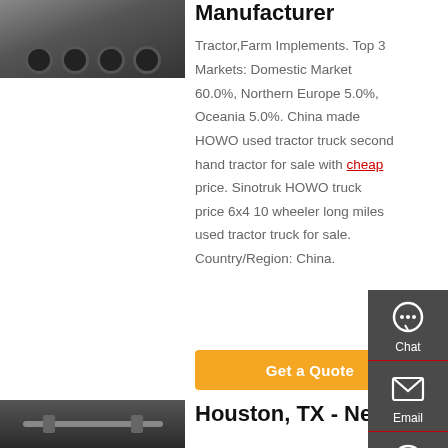[Figure (photo): Rear view of a heavy truck with large wheels, dark colored cab]
Manufacturer
Tractor,Farm Implements. Top 3 Markets: Domestic Market 60.0%, Northern Europe 5.0%, Oceania 5.0%. China made HOWO used tractor truck second hand tractor for sale with cheap price. Sinotruk HOWO truck price 6x4 10 wheeler long miles used tractor truck for sale. Country/Region: China.
[Figure (screenshot): Floating sidebar with Chat, Email, Contact, and Top navigation icons on dark grey background]
Get a Quote
[Figure (photo): Undercarriage/axle of a truck trailer, dark industrial photo]
Houston, TX - New